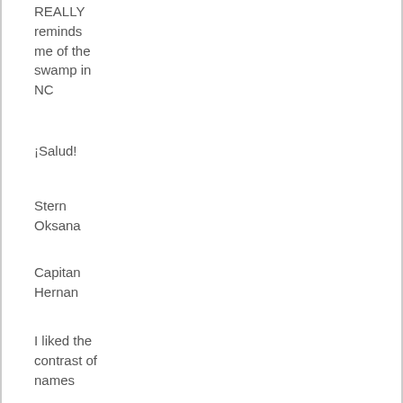REALLY reminds me of the swamp in NC
¡Salud!
Stern Oksana
Capitan Hernan
I liked the contrast of names